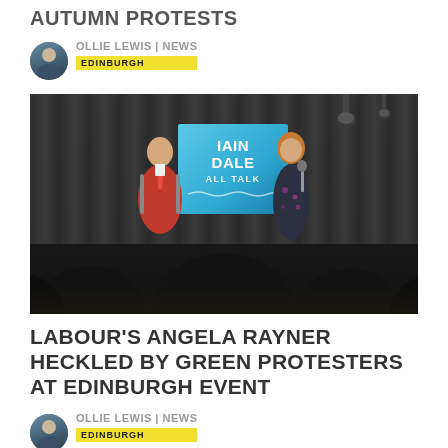AUTUMN PROTESTS
OLLIE LEWIS | NEWS
EDINBURGH
[Figure (photo): Two people on a darkened stage with an 'Iain Dale All Talk' banner. A man in a red jacket is seated on the left, a woman is standing and speaking on the right. Audience silhouettes are visible in the foreground.]
LABOUR'S ANGELA RAYNER HECKLED BY GREEN PROTESTERS AT EDINBURGH EVENT
OLLIE LEWIS | NEWS
EDINBURGH
[Figure (photo): Partially visible photo at the bottom of the page, cropped.]